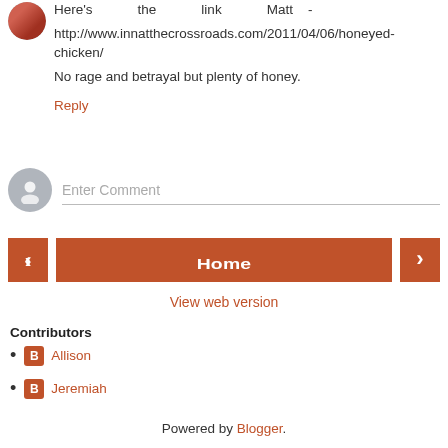Here's the link Matt - http://www.innatthecrossroads.com/2011/04/06/honeyed-chicken/ No rage and betrayal but plenty of honey.
Reply
[Figure (other): Enter Comment input field with gray avatar icon]
[Figure (other): Navigation bar with left arrow, Home button, and right arrow]
View web version
Contributors
Allison
Jeremiah
Powered by Blogger.